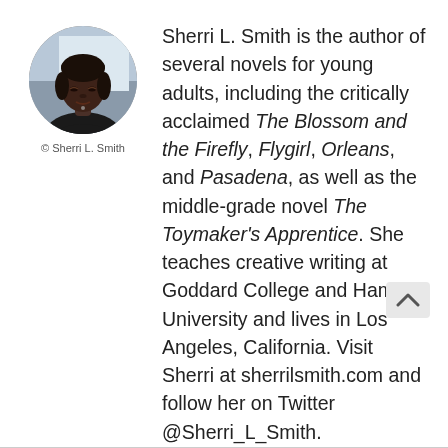[Figure (photo): Circular portrait photo of Sherri L. Smith]
© Sherri L. Smith
Sherri L. Smith is the author of several novels for young adults, including the critically acclaimed The Blossom and the Firefly, Flygirl, Orleans, and Pasadena, as well as the middle-grade novel The Toymaker's Apprentice. She teaches creative writing at Goddard College and Hamline University and lives in Los Angeles, California. Visit Sherri at sherrilsmith.com and follow her on Twitter @Sherri_L_Smith.
View titles by Sherri L. Smith